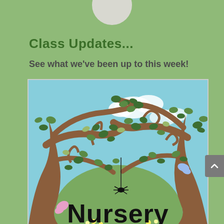Class Updates...
See what we've been up to this week!
[Figure (illustration): A nursery school illustration showing cartoon trees with brown branches and green leaves, a sky-blue background with white clouds, a large green hill in the center, a spider hanging on a thread, pink and blue butterflies, small yellow flowers at the bottom, and the word 'Nursery' in large bold black text at the bottom of the image.]